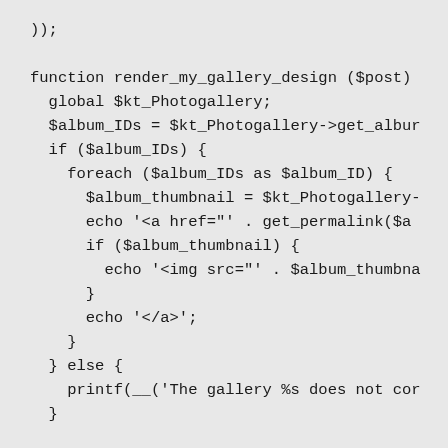));

function render_my_gallery_design ($post)
  global $kt_Photogallery;
  $album_IDs = $kt_Photogallery->get_albur
  if ($album_IDs) {
    foreach ($album_IDs as $album_ID) {
      $album_thumbnail = $kt_Photogallery-
      echo '<a href="' . get_permalink($a
      if ($album_thumbnail) {
        echo '<img src="' . $album_thumbna
      }
      echo '</a>';
    }
  } else {
    printf(__('The gallery %s does not cor
  }